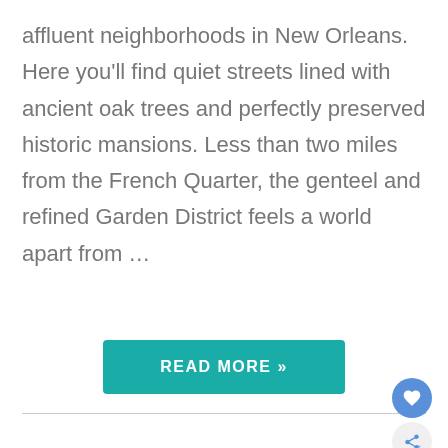affluent neighborhoods in New Orleans. Here you'll find quiet streets lined with ancient oak trees and perfectly preserved historic mansions. Less than two miles from the French Quarter, the genteel and refined Garden District feels a world apart from …
READ MORE »